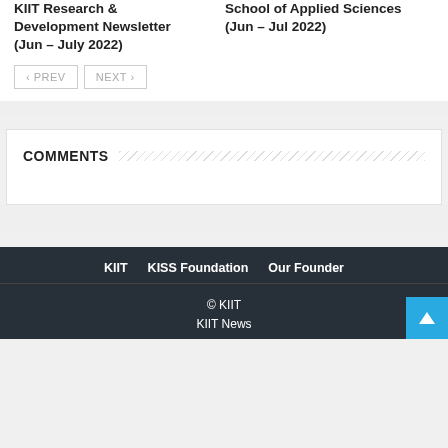KIIT Research & Development Newsletter (Jun – July 2022)
School of Applied Sciences (Jun – Jul 2022)
« PREV
NEXT »
COMMENTS
KIIT   KISS Foundation   Our Founder
© KIIT
KIIT News